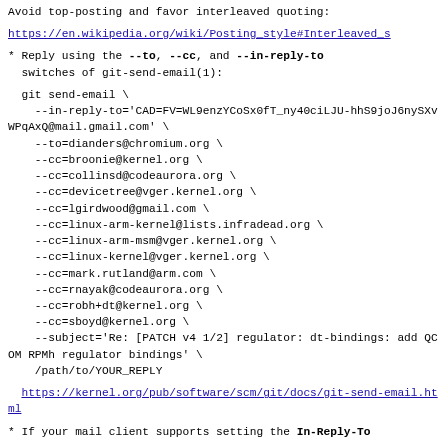Avoid top-posting and favor interleaved quoting:
https://en.wikipedia.org/wiki/Posting_style#Interleaved_s
* Reply using the --to, --cc, and --in-reply-to switches of git-send-email(1):
git send-email \
    --in-reply-to='CAD=FV=WL9enzYCoSx0fT_ny40ciLJU-hhS9joJ6nySXvWPqAxQ@mail.gmail.com' \
    --to=dianders@chromium.org \
    --cc=broonie@kernel.org \
    --cc=collinsd@codeaurora.org \
    --cc=devicetree@vger.kernel.org \
    --cc=lgirdwood@gmail.com \
    --cc=linux-arm-kernel@lists.infradead.org \
    --cc=linux-arm-msm@vger.kernel.org \
    --cc=linux-kernel@vger.kernel.org \
    --cc=mark.rutland@arm.com \
    --cc=rnayak@codeaurora.org \
    --cc=robh+dt@kernel.org \
    --cc=sboyd@kernel.org \
    --subject='Re: [PATCH v4 1/2] regulator: dt-bindings: add QCOM RPMh regulator bindings' \
    /path/to/YOUR_REPLY
https://kernel.org/pub/software/scm/git/docs/git-send-email.html
* If your mail client supports setting the In-Reply-To